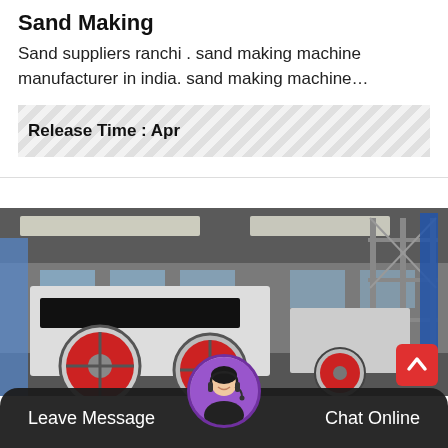Sand Making
Sand suppliers ranchi . sand making machine manufacturer in india. sand making machine…
Release Time : Apr
[Figure (photo): Factory floor with large industrial sand-making/crushing machines (white and red flywheel crushers) inside a warehouse with steel scaffolding and industrial lighting.]
Leave Message
Chat Online